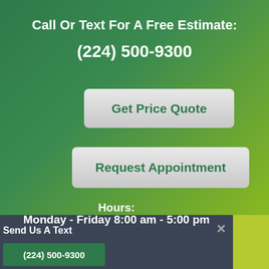Call Or Text For A Free Estimate:
(224) 500-9300
[Figure (other): Get Price Quote button - rounded rectangle button with light gray gradient background]
[Figure (other): Request Appointment button - rounded rectangle button with light gray gradient background]
Hours:
Monday - Friday 8:00 am - 5:00 pm
Send Us A Text
(224) 500-9300